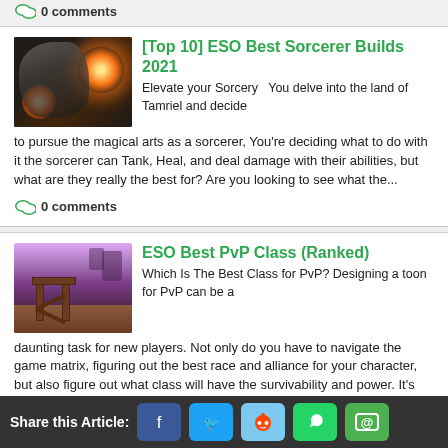0 comments
[Figure (photo): ESO sorcerer with glowing orange orbs]
[Top 10] ESO Best Sorcerer Builds 2021
Elevate your Sorcery   You delve into the land of Tamriel and decide to pursue the magical arts as a sorcerer, You're deciding what to do with it the sorcerer can Tank, Heal, and deal damage with their abilities, but what are they really the best for? Are you looking to see what the...
0 comments
[Figure (photo): ESO PvP battlefield scene with wooden siege structure]
ESO Best PvP Class (Ranked)
Which Is The Best Class for PvP? Designing a toon for PvP can be a daunting task for new players. Not only do you have to navigate the game matrix, figuring out the best race and alliance for your character, but also figure out what class will have the survivability and power. It's easy to...
0 comments
Share this Article: